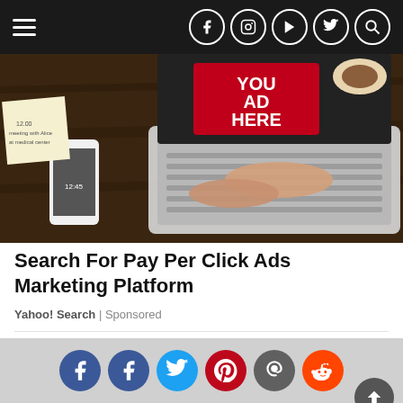Navigation bar with hamburger menu and social icons (Facebook, Instagram, YouTube, Twitter, Search)
[Figure (photo): Person typing on a laptop with a red 'YOUR AD HERE' sign displayed on the screen, surrounded by desk items including a phone, notebook, coffee cup, on a dark wooden table]
Search For Pay Per Click Ads Marketing Platform
Yahoo! Search | Sponsored
[Figure (photo): Two side-by-side photos of business people: left shows a smiling man in a suit with others behind him; right shows a young man and blonde woman smiling together]
Social sharing icons: Facebook, Facebook, Twitter, Pinterest, Email, Reddit